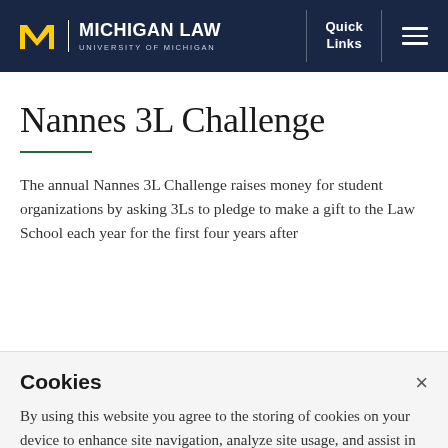Michigan Law — University of Michigan | Quick Links | Menu
Nannes 3L Challenge
The annual Nannes 3L Challenge raises money for student organizations by asking 3Ls to pledge to make a gift to the Law School each year for the first four years after
Cookies
By using this website you agree to the storing of cookies on your device to enhance site navigation, analyze site usage, and assist in our marketing efforts. Privacy Notice